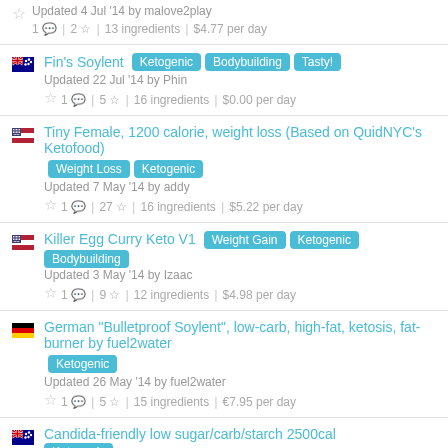Updated 4 Jul '14 by malove2play | 1 comment | 2 stars | 13 ingredients | $4.77 per day
Fin's Soylent [Ketogenic] [Bodybuilding] [Tasty!] Updated 22 Jul '14 by Phin | 1 comment | 5 stars | 16 ingredients | $0.00 per day
Tiny Female, 1200 calorie, weight loss (Based on QuidNYC's Ketofood) [Weight Loss] [Ketogenic] Updated 7 May '14 by addy | 1 comment | 27 stars | 16 ingredients | $5.22 per day
Killer Egg Curry Keto V1 [Weight Gain] [Ketogenic] [Bodybuilding] Updated 3 May '14 by Izaac | 1 comment | 9 stars | 12 ingredients | $4.98 per day
German "Bulletproof Soylent", low-carb, high-fat, ketosis, fat-burner by fuel2water [Ketogenic] Updated 26 May '14 by fuel2water | 1 comment | 5 stars | 15 ingredients | €7.95 per day
Candida-friendly low sugar/carb/starch 2500cal [Ketogenic] Updated 16 Mar '14 by Fin